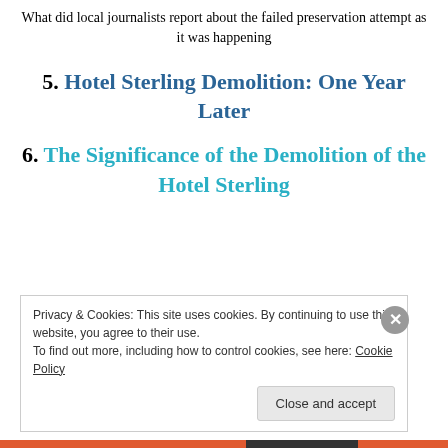What did local journalists report about the failed preservation attempt as it was happening
5. Hotel Sterling Demolition: One Year Later
6. The Significance of the Demolition of the Hotel Sterling
Privacy & Cookies: This site uses cookies. By continuing to use this website, you agree to their use.
To find out more, including how to control cookies, see here: Cookie Policy
Close and accept